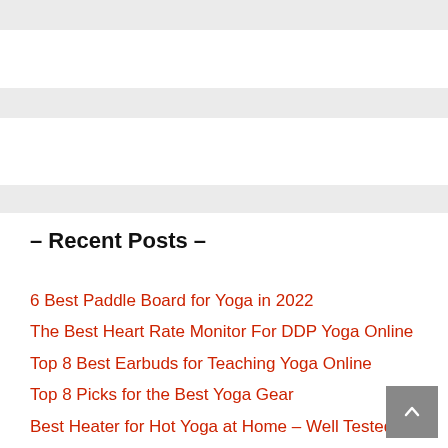– Recent Posts –
6 Best Paddle Board for Yoga in 2022
The Best Heart Rate Monitor For DDP Yoga Online
Top 8 Best Earbuds for Teaching Yoga Online
Top 8 Picks for the Best Yoga Gear
Best Heater for Hot Yoga at Home – Well Tested